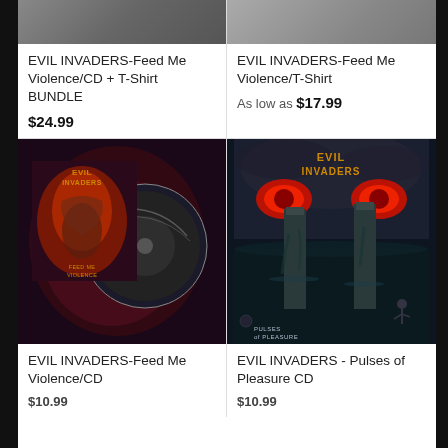[Figure (photo): Partial top of EVIL INVADERS Feed Me Violence CD + T-Shirt Bundle product image]
EVIL INVADERS-Feed Me Violence/CD + T-Shirt BUNDLE
$24.99
[Figure (photo): Partial top of EVIL INVADERS Feed Me Violence T-Shirt product image]
EVIL INVADERS-Feed Me Violence/T-Shirt
As low as $17.99
[Figure (photo): EVIL INVADERS Feed Me Violence CD album art with disc]
EVIL INVADERS-Feed Me Violence/CD
$10.99
[Figure (photo): EVIL INVADERS Pulses of Pleasure CD album art]
EVIL INVADERS - Pulses of Pleasure CD
$10.99